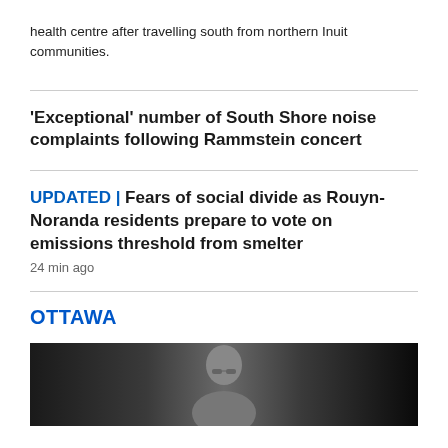health centre after travelling south from northern Inuit communities.
'Exceptional' number of South Shore noise complaints following Rammstein concert
UPDATED | Fears of social divide as Rouyn-Noranda residents prepare to vote on emissions threshold from smelter
24 min ago
OTTAWA
[Figure (photo): Black and white photograph of a person, partially visible, showing head and upper body against a dark background.]